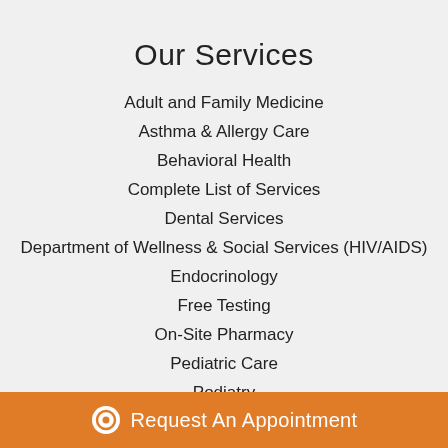Our Services
Adult and Family Medicine
Asthma & Allergy Care
Behavioral Health
Complete List of Services
Dental Services
Department of Wellness & Social Services (HIV/AIDS)
Endocrinology
Free Testing
On-Site Pharmacy
Pediatric Care
Podiatry
Social Work
Request An Appointment